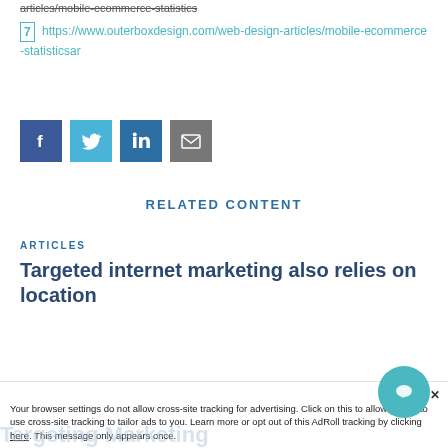articles/mobile-ecommerce-statistics
[7] https://www.outerboxdesign.com/web-design-articles/mobile-ecommerce-statisticsar
[Figure (other): Social media share buttons: Facebook (blue), Twitter (light blue), LinkedIn (dark blue), Email (grey)]
RELATED CONTENT
ARTICLES
Targeted internet marketing also relies on location
Accept  ×
Your browser settings do not allow cross-site tracking for advertising. Click on this to allow AdRoll to use cross-site tracking to tailor ads to you. Learn more or opt out of this AdRoll tracking by clicking here. This message only appears once.